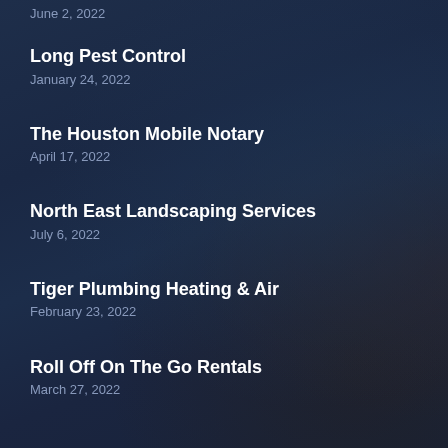June 2, 2022
Long Pest Control
January 24, 2022
The Houston Mobile Notary
April 17, 2022
North East Landscaping Services
July 6, 2022
Tiger Plumbing Heating & Air
February 23, 2022
Roll Off On The Go Rentals
March 27, 2022